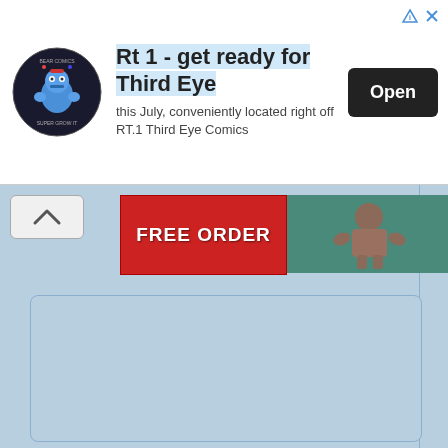[Figure (screenshot): Advertisement banner for Third Eye Comics. Contains a circular logo with a cartoon character, bold headline text 'Rt 1 - get ready for Third Eye', subtext 'this July, conveniently located right off RT.1 Third Eye Comics', and a black 'Open' button. Top-right corner shows an ad indicator triangle and X close button.]
[Figure (screenshot): Web page UI section showing a collapse/chevron-up button on the left, a red banner with white bold text 'FREE ORDER', and a teal/green background panel showing a muscular figure. Below is a large light-blue empty content panel with a border, and a right sidebar strip.]